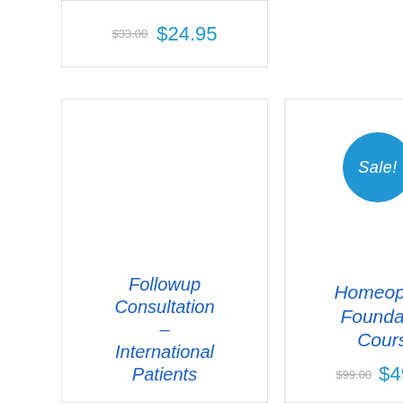$33.00 $24.95
Followup Consultation – International Patients
[Figure (other): Sale! badge — blue circle with white italic text 'Sale!']
Homeopathy Foundation Course
$99.00 $49.00